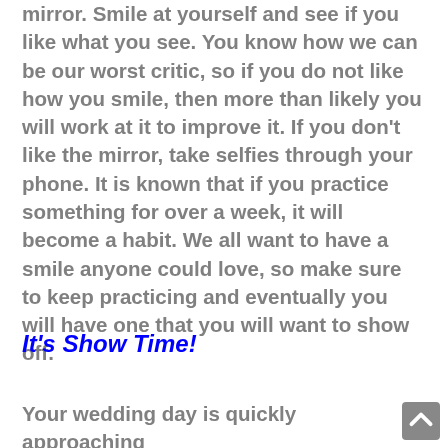mirror. Smile at yourself and see if you like what you see. You know how we can be our worst critic, so if you do not like how you smile, then more than likely you will work at it to improve it. If you don't like the mirror, take selfies through your phone. It is known that if you practice something for over a week, it will become a habit. We all want to have a smile anyone could love, so make sure to keep practicing and eventually you will have one that you will want to show off.
It's Show Time!
Your wedding day is quickly approaching